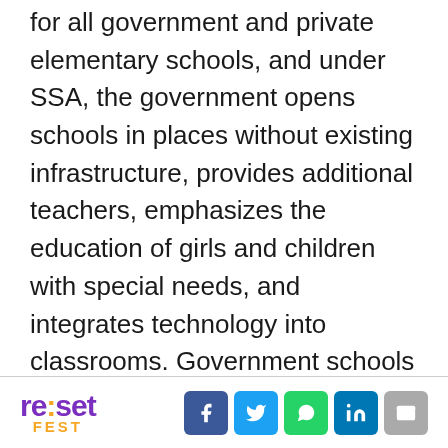for all government and private elementary schools, and under SSA, the government opens schools in places without existing infrastructure, provides additional teachers, emphasizes the education of girls and children with special needs, and integrates technology into classrooms. Government schools can be run by the central, state or local government and they don't usually charge any admission fees up until grade 8.

As a result, access to government schools has improved considerably in the last
re:set FEST [social icons: Facebook, Twitter, WhatsApp, LinkedIn, Email]